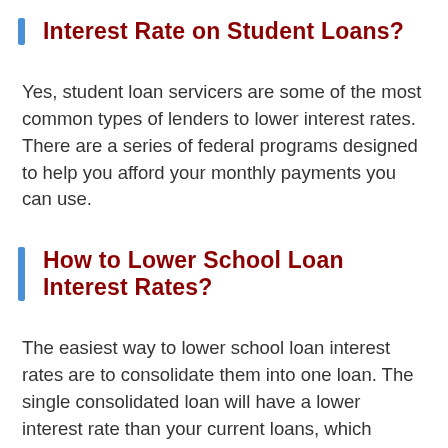Interest Rate on Student Loans?
Yes, student loan servicers are some of the most common types of lenders to lower interest rates. There are a series of federal programs designed to help you afford your monthly payments you can use.
How to Lower School Loan Interest Rates?
The easiest way to lower school loan interest rates are to consolidate them into one loan. The single consolidated loan will have a lower interest rate than your current loans, which allows you to save money.
How to Refinance Federal Student Loans at Lower Interest